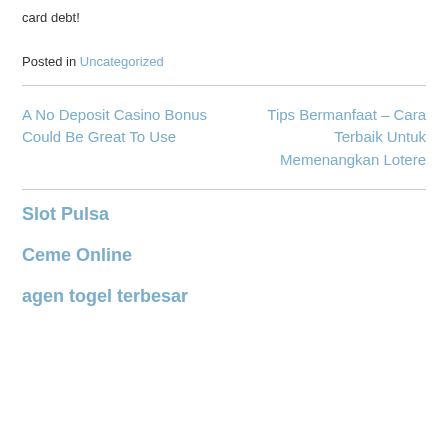card debt!
Posted in Uncategorized
A No Deposit Casino Bonus Could Be Great To Use
Tips Bermanfaat – Cara Terbaik Untuk Memenangkan Lotere
Slot Pulsa
Ceme Online
agen togel terbesar